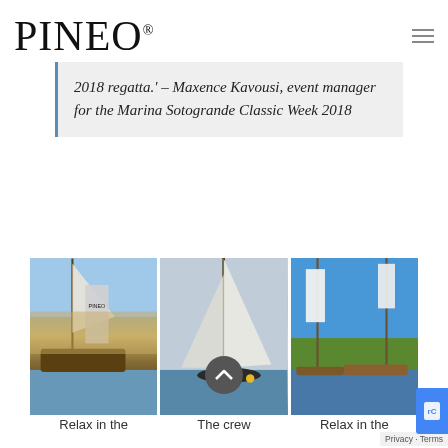[Figure (logo): PINEO brand logo in handwritten/script style font with registered trademark symbol]
2018 regatta.' – Maxence Kavousi, event manager for the Marina Sotogrande Classic Week 2018
[Figure (photo): Three side-by-side photos of classic sailing yachts at a regatta, with PINEO branded banners visible. Left: boats moored at marina. Center: sailboat under full sail. Right: boats at marina with blue sky.]
Relax in the
The crew
Relax in the